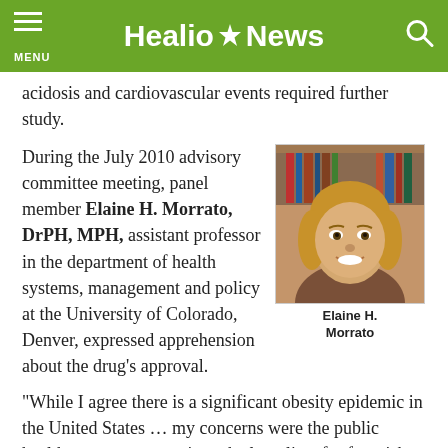Healio News
acidosis and cardiovascular events required further study.
During the July 2010 advisory committee meeting, panel member Elaine H. Morrato, DrPH, MPH, assistant professor in the department of health systems, management and policy at the University of Colorado, Denver, expressed apprehension about the drug's approval.
[Figure (photo): Headshot photo of Elaine H. Morrato]
Elaine H. Morrato
“While I agree there is a significant obesity epidemic in the United States … my concerns were the public health consequences, given the long list of safety risks and the strong pent-up market